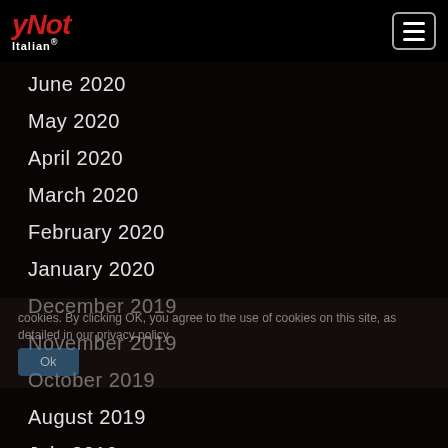Y Not Italian
June 2020
May 2020
April 2020
March 2020
February 2020
January 2020
December 2019
November 2019
October 2019
August 2019
July 2019
June 2019
May 2019
April 2019
March 2019
cookies. By clicking OK, you agree to the use of cookies on this site, as detailed in our privacy policy